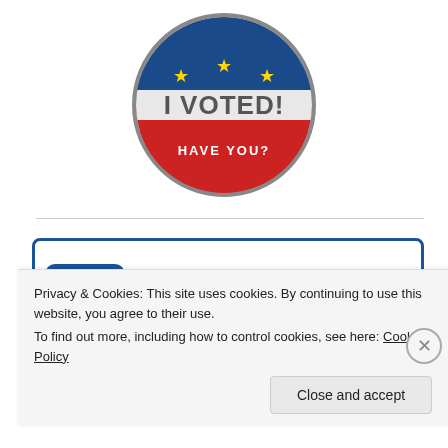[Figure (illustration): A circular 'I Voted! Have You?' badge/button with blue top section with yellow stars, white middle with bold 'I VOTED!' text, and red bottom with 'HAVE YOU?' text]
[Figure (logo): Facebook 'Find us on: facebook' promotional banner with Facebook logo icon on the left and text on the right, inside a blue-bordered box]
Privacy & Cookies: This site uses cookies. By continuing to use this website, you agree to their use.
To find out more, including how to control cookies, see here: Cookie Policy
Close and accept